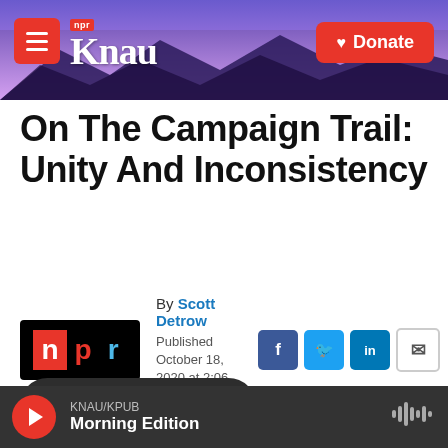KNAU NPR | Donate
On The Campaign Trail: Unity And Inconsistency
By Scott Detrow
Published October 18, 2020 at 2:06 PM MST
[Figure (screenshot): NPR logo box with n p r letters in red, black, and blue]
[Figure (infographic): Social share icons: Facebook, Twitter, LinkedIn, Email]
LISTEN • 3:30
KNAU/KPUB Morning Edition